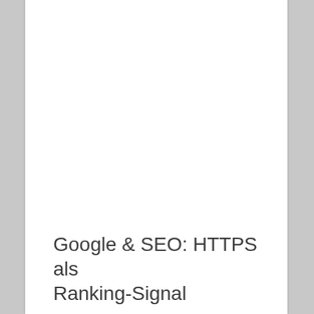Google & SEO: HTTPS als Ranking-Signal